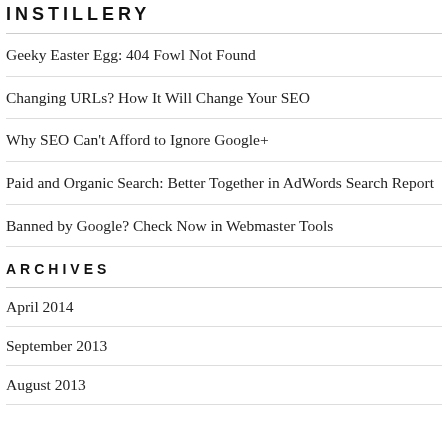INSTILLERY
Geeky Easter Egg: 404 Fowl Not Found
Changing URLs? How It Will Change Your SEO
Why SEO Can't Afford to Ignore Google+
Paid and Organic Search: Better Together in AdWords Search Report
Banned by Google? Check Now in Webmaster Tools
ARCHIVES
April 2014
September 2013
August 2013